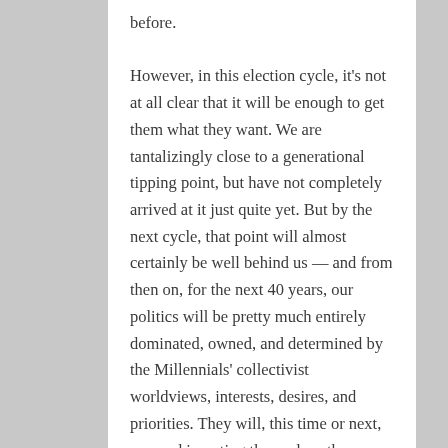before. However, in this election cycle, it's not at all clear that it will be enough to get them what they want. We are tantalizingly close to a generational tipping point, but have not completely arrived at it just quite yet. But by the next cycle, that point will almost certainly be well behind us — and from then on, for the next 40 years, our politics will be pretty much entirely dominated, owned, and determined by the Millennials' collectivist worldviews, interests, desires, and priorities. They will, this time or next, succeed in voting themselves the transformation they seek. It's not a question of if, but when.